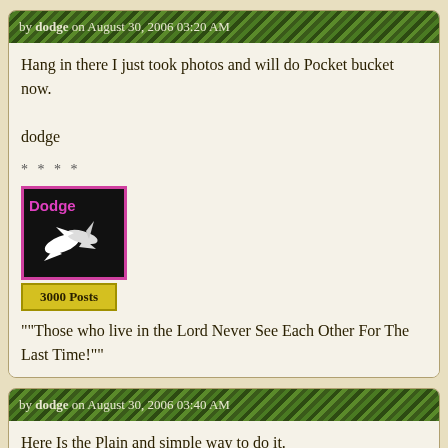by dodge on August 30, 2006 03:20 AM
Hang in there I just took photos and will do Pocket bucket now.

dodge
* * * *
[Figure (photo): Avatar of user dodge: pink-bordered image showing white birds on dark background with 'Dodge' text label, and a '3000 Posts' badge below]
""Those who live in the Lord Never See Each Other For The Last Time!""
by dodge on August 30, 2006 03:40 AM
Here Is the Plain and simple way to do it.
The Heating cable is not visible.